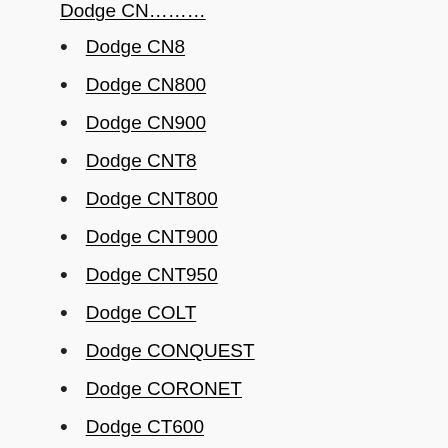Dodge CN8
Dodge CN800
Dodge CN900
Dodge CNT8
Dodge CNT800
Dodge CNT900
Dodge CNT950
Dodge COLT
Dodge CONQUEST
Dodge CORONET
Dodge CT600
Dodge CT700
Dodge CT800